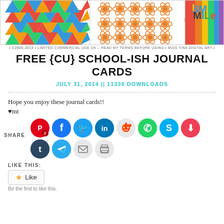[Figure (illustration): Banner image with colorful triangles pattern on the left, orange atomic/flower pattern in the middle, rainbow stripe on the right, and 'SMILE' text in colorful letters on far right]
• ©2006-2019 • LIMITED COMMERCIAL USE OK – READ MY TERMS BEFORE USING • MISS TINA DIGITAL ART •
FREE {CU} SCHOOL-ISH JOURNAL CARDS
JULY 31, 2014 || 11339 DOWNLOADS
Hope you enjoy these journal cards!!
♥mt
[Figure (infographic): Share buttons row 1: Pinterest (with badge 2), Facebook, Twitter, LinkedIn, Reddit, WhatsApp, Skype, Pocket. Row 2: Tumblr, Telegram, Email, Print]
LIKE THIS:
Like
Be the first to like this.